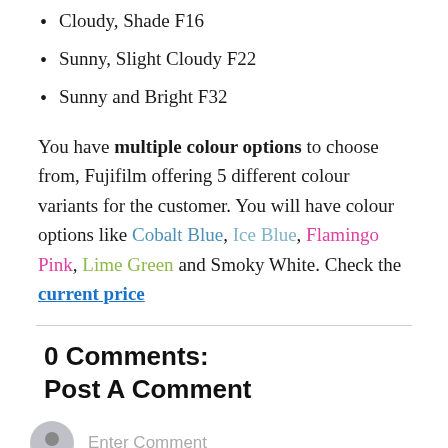Cloudy, Shade F16
Sunny, Slight Cloudy F22
Sunny and Bright F32
You have multiple colour options to choose from, Fujifilm offering 5 different colour variants for the customer. You will have colour options like Cobalt Blue, Ice Blue, Flamingo Pink, Lime Green and Smoky White. Check the current price
0 Comments:
Post A Comment
Enter Comment